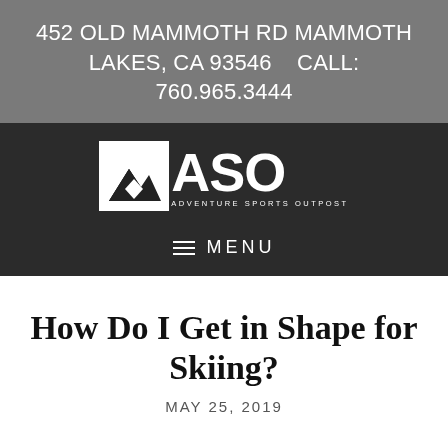452 OLD MAMMOTH RD MAMMOTH LAKES, CA 93546    CALL: 760.965.3444
[Figure (logo): Adventure Sports Outpost (ASO) logo: white square with mountain silhouette graphic on the left, large bold white text 'ASO' and smaller text 'ADVENTURE SPORTS OUTPOST' on a dark background]
≡ MENU
How Do I Get in Shape for Skiing?
MAY 25, 2019